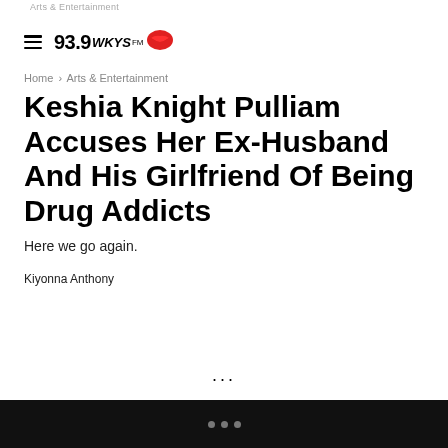Arts & Entertainment
[Figure (logo): 93.9 WKYS FM radio station logo with red lips icon]
Home › Arts & Entertainment
Keshia Knight Pulliam Accuses Her Ex-Husband And His Girlfriend Of Being Drug Addicts
Here we go again.
Kiyonna Anthony